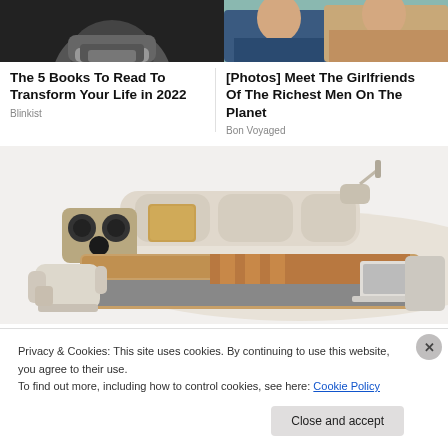[Figure (photo): Black and white close-up photo of a man's face (lower half), dark background]
[Figure (photo): Photo of a couple sitting together, man in blue suit, woman in floral dress, teal background]
The 5 Books To Read To Transform Your Life in 2022
Blinkist
[Photos] Meet The Girlfriends Of The Richest Men On The Planet
Bon Voyaged
[Figure (photo): Product photo of a luxury smart bed/sectional sofa system with speakers, laptop tray, reclining chairs, and various compartments, viewed from above at an angle]
Privacy & Cookies: This site uses cookies. By continuing to use this website, you agree to their use.
To find out more, including how to control cookies, see here: Cookie Policy
Close and accept